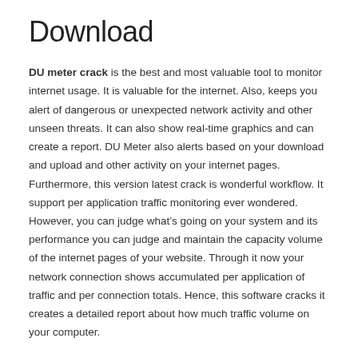Download
DU meter crack is the best and most valuable tool to monitor internet usage. It is valuable for the internet. Also, keeps you alert of dangerous or unexpected network activity and other unseen threats. It can also show real-time graphics and can create a report. DU Meter also alerts based on your download and upload and other activity on your internet pages. Furthermore, this version latest crack is wonderful workflow. It support per application traffic monitoring ever wondered. However, you can judge what’s going on your system and its performance you can judge and maintain the capacity volume of the internet pages of your website. Through it now your network connection shows accumulated per application of traffic and per connection totals. Hence, this software cracks it creates a detailed report about how much traffic volume on your computer.